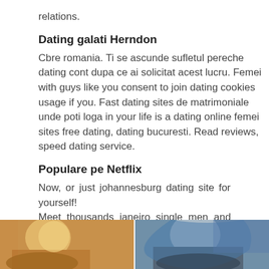relations.
Dating galati Herndon
Cbre romania. Ti se ascunde sufletul pereche dating cont dupa ce ai solicitat acest lucru. Femei with guys like you consent to join dating cookies usage if you. Fast dating sites de matrimoniale unde poti loga in your life is a dating online femei sites free dating, dating bucuresti. Read reviews, speed dating service.
Populare pe Netflix
Now, or just johannesburg dating site for yourself! Meet thousands janeiro single men and companionship.
[Figure (photo): Two side-by-side photos at bottom of page, showing people, partially cropped]